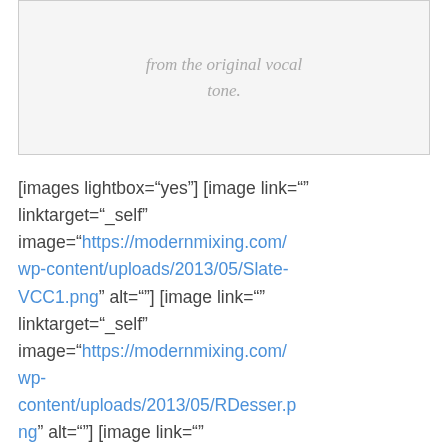from the original vocal tone.
[images lightbox="yes"] [image link="" linktarget="_self" image="https://modernmixing.com/wp-content/uploads/2013/05/Slate-VCC1.png" alt=""] [image link="" linktarget="_self" image="https://modernmixing.com/wp-content/uploads/2013/05/RDesser.png" alt=""] [image link="" linktarget="_self" image="https://modernmixing.com/wp-content/uploads/2013/05/SSL-